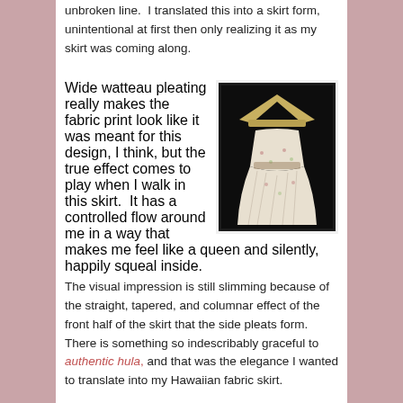unbroken line.  I translated this into a skirt form, unintentional at first then only realizing it as my skirt was coming along.
Wide watteau pleating really makes the fabric print look like it was meant for this design, I think, but the true effect comes to play when I walk in this skirt.  It has a controlled flow around me in a way that makes me feel like a queen and silently, happily squeal inside.  The visual impression is still slimming because of the straight, tapered, and columnar effect of the front half of the skirt that the side pleats form.  There is something so indescribably graceful to authentic hula, and that was the elegance I wanted to translate into my Hawaiian fabric skirt.
[Figure (photo): Back view of a woman wearing a historical-style white dress with floral print and wide pleating, wearing a large hat, photographed against a dark background.]
[Figure (photo): Circular avatar photo of a woman with dark hair, shown from shoulders up, with green foliage in background.]
I hope you enjoyed this tropical foray for these last two posts, and that